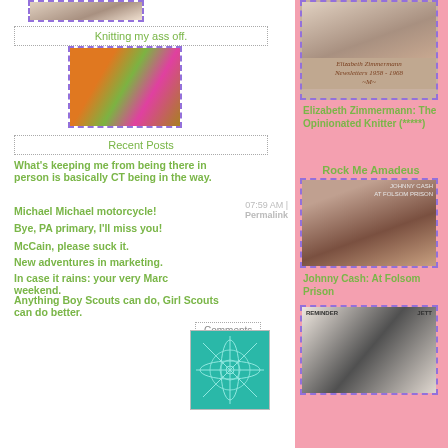[Figure (photo): Partial photo of person knitting, cropped at top]
Knitting my ass off.
[Figure (photo): Close-up photo of colorful knitting fabric in orange, green, purple]
Recent Posts
What’s keeping me from being there in person is basically CT being in the way.
Michael Michael motorcycle!
Bye, PA primary, I’ll miss you!
McCain, please suck it.
New adventures in marketing.
In case it rains: your very Marc weekend.
Anything Boy Scouts can do, Girl Scouts can do better.
07:59 AM | Permalink
Comments
[Figure (illustration): Teal geometric/snowflake decorative image]
[Figure (photo): Black and white photo of Elizabeth Zimmermann with book cover text: Elizabeth Zimmermann Newsletters 1958-1968]
Elizabeth Zimmermann: The Opinionated Knitter (*****)
Rock Me Amadeus
[Figure (photo): Album cover: Johnny Cash At Folsom Prison, showing Johnny Cash portrait]
Johnny Cash: At Folsom Prison
[Figure (photo): Album cover with silhouette of person and text REMINDER / JETT]